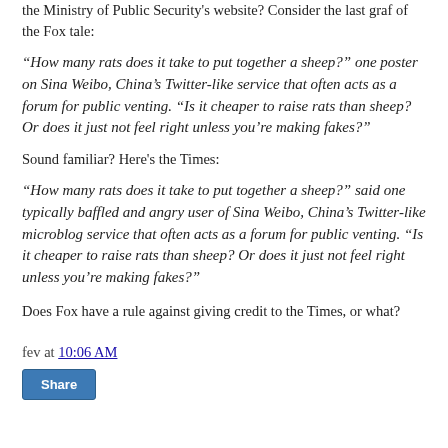the Ministry of Public Security's website? Consider the last graf of the Fox tale:
“How many rats does it take to put together a sheep?” one poster on Sina Weibo, China’s Twitter-like service that often acts as a forum for public venting. “Is it cheaper to raise rats than sheep? Or does it just not feel right unless you’re making fakes?”
Sound familiar? Here’s the Times:
“How many rats does it take to put together a sheep?” said one typically baffled and angry user of Sina Weibo, China’s Twitter-like microblog service that often acts as a forum for public venting. “Is it cheaper to raise rats than sheep? Or does it just not feel right unless you’re making fakes?”
Does Fox have a rule against giving credit to the Times, or what?
fev at 10:06 AM
Share